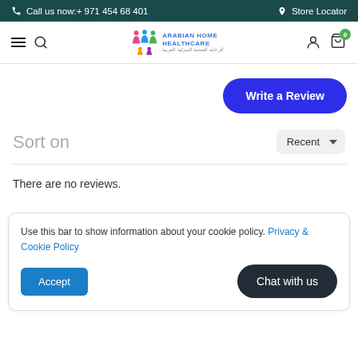Call us now:+ 971 454 68 401   Store Locator
[Figure (screenshot): Arabian Home Healthcare logo with colorful figure icons and text]
Write a Review
Sort on
There are no reviews.
Use this bar to show information about your cookie policy. Privacy & Cookie Policy
Accept
Chat with us